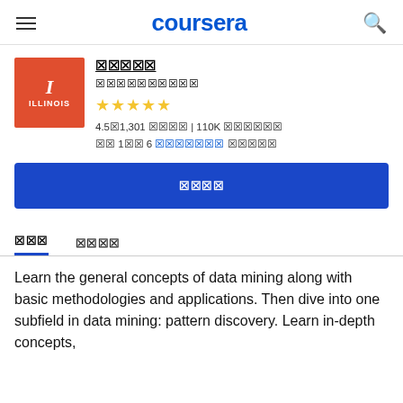coursera
[Figure (logo): University of Illinois logo: red square with letter I and text ILLINOIS]
🀫🀫🀫🀫🀫
🀫🀫🀫🀫🀫🀫🀫🀫🀫🀫
4.5🀫1,301 🀫🀫🀫🀫 | 110K 🀫🀫🀫🀫🀫🀫
🀫🀫 1🀫🀫 6 🀫🀫🀫🀫🀫🀫🀫 🀫🀫🀫🀫🀫
🀫🀫🀫🀫
🀫🀫🀫   🀫🀫🀫🀫
Learn the general concepts of data mining along with basic methodologies and applications. Then dive into one subfield in data mining: pattern discovery. Learn in-depth concepts,